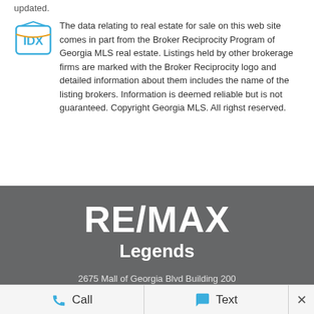updated.
The data relating to real estate for sale on this web site comes in part from the Broker Reciprocity Program of Georgia MLS real estate. Listings held by other brokerage firms are marked with the Broker Reciprocity logo and detailed information about them includes the name of the listing brokers. Information is deemed reliable but is not guaranteed. Copyright Georgia MLS. All righst reserved.
[Figure (logo): RE/MAX Legends logo with white text on dark gray background]
2675 Mall of Georgia Blvd Building 200
Buford, GA 30519
Call   Text   ×